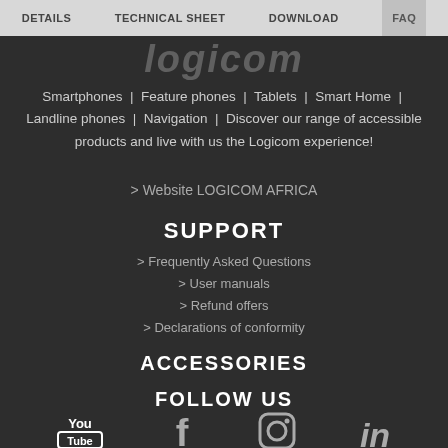DETAILS | TECHNICAL SHEET | DOWNLOAD | FAQ
[Figure (logo): Logicom brand logo in dark background]
Smartphones | Feature phones | Tablets | Smart Home | Landline phones | Navigation | Discover our range of accessible products and live with us the Logicom experience!
> Website LOGICOM AFRICA
SUPPORT
> Frequently Asked Questions
> User manuals
> Refund offers
> Declarations of conformity
ACCESSORIES
FOLLOW US
[Figure (illustration): Social media icons: YouTube, Facebook, Instagram, LinkedIn]